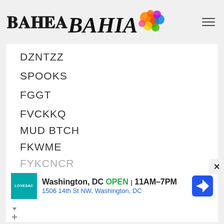[Figure (logo): BAHIA logo with colorful paint splash graphic]
DZNTZZ
SPOOKS
FGGT
FVCKKQ
MUD BTCH
FKWME
FYKCNCR
[Figure (advertisement): Lovesac store ad: Washington, DC OPEN 11AM-7PM 1506 14th St NW, Washington, DC with navigation icon]